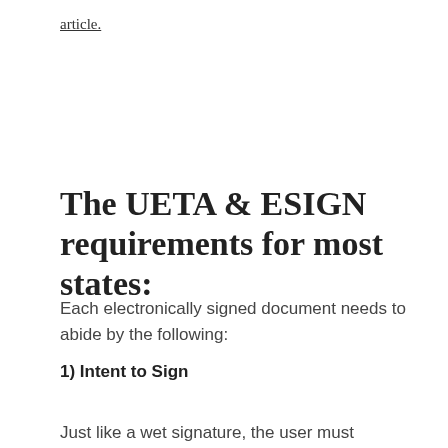article.
The UETA & ESIGN requirements for most states:
Each electronically signed document needs to abide by the following:
1) Intent to Sign
Just like a wet signature, the user must